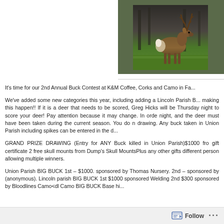[Figure (photo): A white-tailed buck deer with large antlers standing in a field with green grass and dark wooded background]
It's time for our 2nd Annual Buck Contest at K&M Coffee, Corks and Camo in Fa...
We've added some new categories this year, including adding a Lincoln Parish B... making this happen!! If it is a deer that needs to be scored, Greg Hicks will be Thursday night to score your deer! Pay attention because it may change. In orde night, and the deer must have been taken during the current season. You do n drawing. Any buck taken in Union Parish including spikes can be entered in the d...
GRAND PRIZE DRAWING (Entry for ANY Buck killed in Union Parish)$1000 fro gift certificate 2 free skull mounts from Dump's Skull MountsPlus any other gifts different person allowing multiple winners.
Union Parish BIG BUCK 1st – $1000. sponsored by Thomas Nursery. 2nd – sponsored by (anonymous). Lincoln parish BIG BUCK 1st $1000 sponsored Welding 2nd $300 sponsored by Bloodlines Camodl Camo BIG BUCK Base hi...
Follow